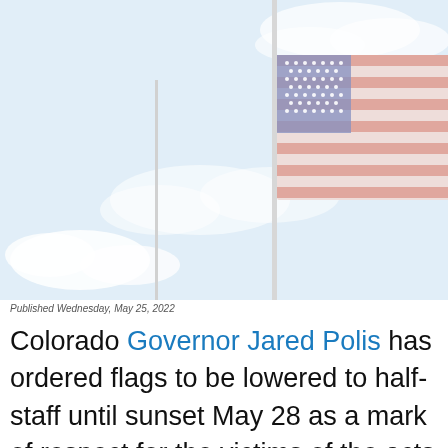[Figure (photo): An American flag on a flagpole at half-staff against a partly cloudy blue-white sky. The flag is waving in the wind, with muted red, white, and blue colors.]
Published Wednesday, May 25, 2022
Colorado Governor Jared Polis has ordered flags to be lowered to half-staff until sunset May 28 as a mark of respect for the victims of the acts of violence perpetrated Tuesday by a gunman at Robb Elementary School in Uvalde, Texas, as proclaimed by President Biden